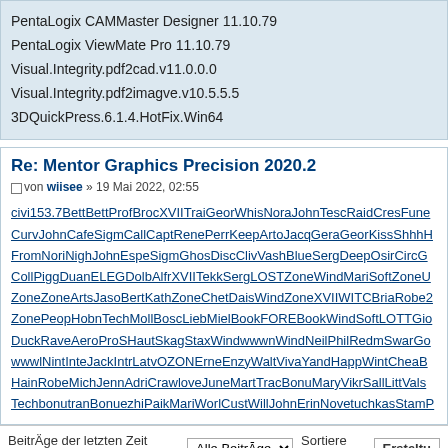PentaLogix CAMMaster Designer 11.10.79
PentaLogix ViewMate Pro 11.10.79
Visual.Integrity.pdf2cad.v11.0.0.0
Visual.Integrity.pdf2imagve.v10.5.5.5
3DQuickPress.6.1.4.HotFix.Win64
Re: Mentor Graphics Precision 2020.2
von wiisee » 19 Mai 2022, 02:55
civi153.7BettBettProfBrocXVIITraiGeorWhisNoraJohnTescRaidCresFune CurvJohnCafeSigmCallCaptRenePerrKeepArtoJacqGeraGeorKissShhhH FromNoriNighJohnEspeSigmGhosDiscClivVashBlueSergDeepOsirCircG CollPiggDuanELEGDolbAlfrXVIITekkSergLOSTZoneWindMariSoftZoneU ZoneZoneArtsJasoBertKathZoneChetDaisWindZoneXVIIWITCBriaRobe2 ZonePeopHobnTechMollBoscLiebMielBookFOREBookWindSoftLOTTGio DuckRaveAeroProSHautSkagStaxWindwwwnWindNeilPhilRedmSwarGo wwwlNintInteJackIntrLatvOZONErneEnzyWaltVivaYandHappWintCheaB HainRobeMichJennAdriCrawloveJuneMartTracBonuMaryVikrSallLittVals TechbonutranBonuezhiPaikMariWorlCustWillJohnErinNovetuchkasStamP
Beiträge der letzten Zeit anzeigen: Alle Beiträge  Sortiere nach Erstellu
ANTWORTEN
Zurück zu Allgemein